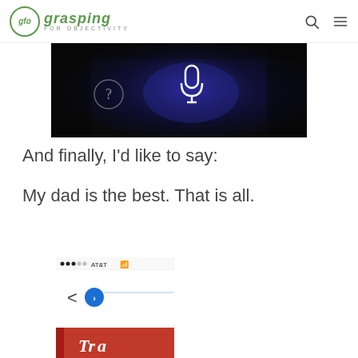glo grasping FOR OBJECTIVITY
[Figure (photo): Siri voice assistant interface on a dark background with a microphone icon and a question mark icon]
And finally, I'd like to say:
My dad is the best. That is all.
[Figure (screenshot): iPhone screenshot showing AT&T carrier, wifi icon, and a browser interface with back button and blue circle icon]
[Figure (photo): Partial photo of a product box reading 'Tr... PERF... DELUXE NIPPL...']